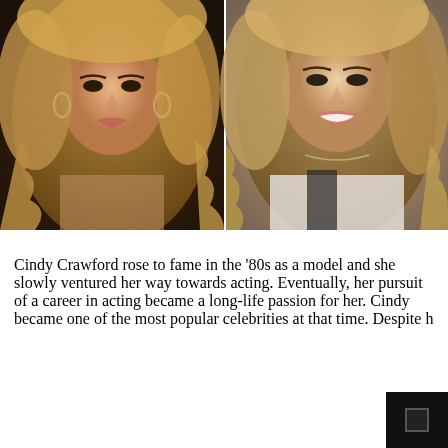[Figure (photo): Two side-by-side photos of Cindy Crawford: left photo shows her younger with long wavy blonde-highlighted hair and hoop earrings; right photo shows her more recently with long wavy brown hair wearing a white jacket, smiling.]
Cindy Crawford rose to fame in the ‘80s as a model and she slowly ventured her way towards acting. Eventually, her pursuit of a career in acting became a long-life passion for her. Cindy became one of the most popular celebrities at that time. Despite h[er...]